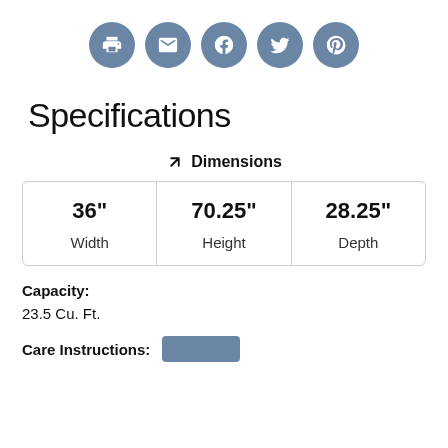[Figure (other): Row of five social sharing icon buttons (print, email, Facebook, Twitter, Pinterest) as blue circles with white icons]
Specifications
✕ Dimensions
| Width | Height | Depth |
| --- | --- | --- |
| 36" | 70.25" | 28.25" |
Capacity:
23.5 Cu. Ft.
Care Instructions: